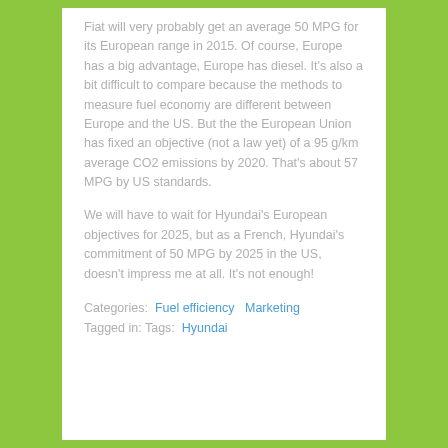Fiat will very probably get an average 50 MPG for its European range in 2015. Of course, Europe has a big advantage, Europe has diesel. It's also a bit difficult to compare because the methods to measure fuel economy are different between Europe and the US. But the the European Union has fixed an objective (not a law yet) of a 95 g/km average CO2 emissions by 2020. That's about 57 MPG by US standards.
We will have to wait for Hyundai's European objectives for 2025, but as a French, Hyundai's commitment of 50 MPG by 2025 in the US, doesn't impress me at all. It's not enough!
Categories:  Fuel efficiency   Marketing
Tagged in: Tags:  Hyundai